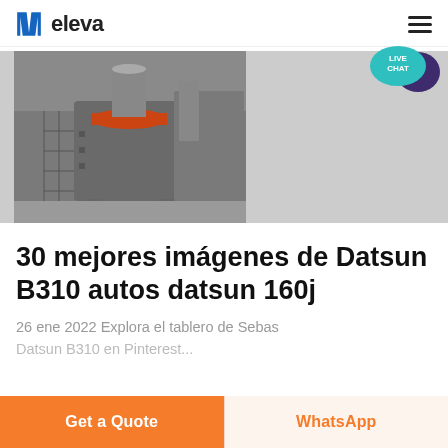eleva
[Figure (photo): Industrial machinery / crusher equipment in a factory setting, photographed in gray tones]
30 mejores imágenes de Datsun B310 autos datsun 160j
26 ene 2022 Explora el tablero de Sebas Datsun B310 en Pinterest
Get a Quote
WhatsApp